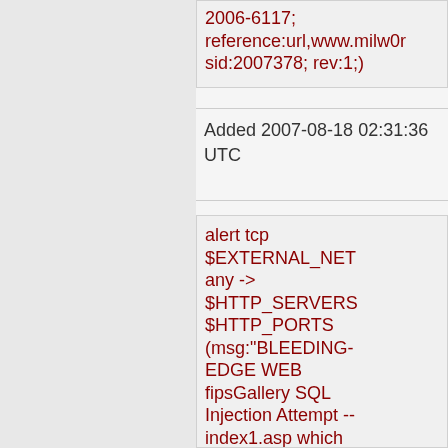2006-6117; reference:url,www.milw0r... sid:2007378; rev:1;)
Added 2007-08-18 02:31:36 UTC
alert tcp $EXTERNAL_NET any -> $HTTP_SERVERS $HTTP_PORTS (msg:"BLEEDING-EDGE WEB fipsGallery SQL Injection Attempt -- index1.asp which ASCII"; flow:established,to_serve...